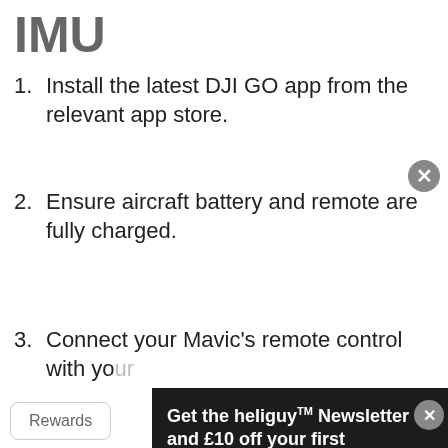IMU
Install the latest DJI GO app from the relevant app store.
Ensure aircraft battery and remote are fully charged.
Connect your Mavic's remote control with your [obscured] be fu[lly obscured]
Ho[w to calibrate the] Ma[vic...]
As lo[ng as the steps ab]ove in pla[ce ...] the calibr[ation ...]
[Figure (screenshot): Newsletter modal popup overlay on dark background. Title: 'Get the heliguy™ Newsletter and £10 off your first purchase.' Subtitle: 'Get offers, case studies, data sets and sell-off stock.' Email input field, opt-in checkbox for heliguy™ email contact, and orange 'Keep Me Updated' button. Close button (X) in top right corner.]
Rewards